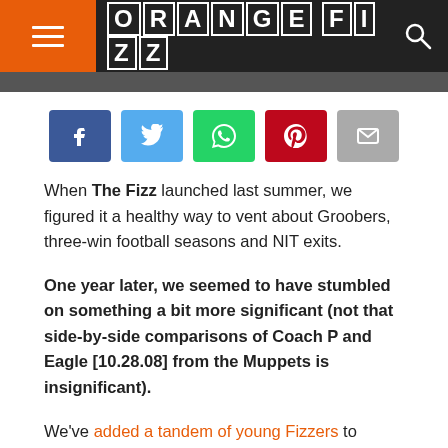ORANGE FIZZ
[Figure (infographic): Social share buttons: Facebook (blue), Twitter (light blue), WhatsApp (green), Pinterest (red), Email (gray)]
When The Fizz launched last summer, we figured it a healthy way to vent about Groobers, three-win football seasons and NIT exits.
One year later, we seemed to have stumbled on something a bit more significant (not that side-by-side comparisons of Coach P and Eagle [10.28.08] from the Muppets is insignificant).
We've added a tandem of young Fizzers to super-sleuth